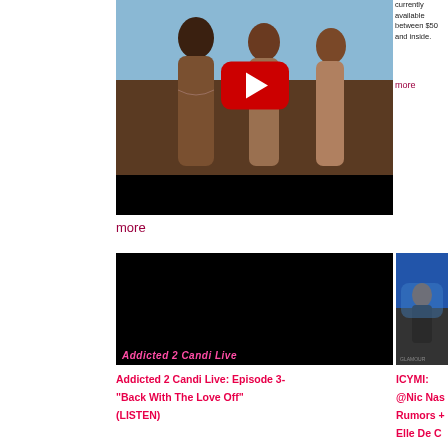[Figure (screenshot): YouTube video thumbnail showing three women in beige/nude toned outfits against a light blue sky background, with a red YouTube play button overlay, and a black bar at the bottom.]
currently available between $50 and inside.
more
more
[Figure (screenshot): Dark video thumbnail with pink cursive text reading 'Addicted 2 Candi' at the bottom.]
Addicted 2 Candi Live: Episode 3-“Back With The Love Off” (LISTEN)
[Figure (screenshot): Video thumbnail showing a person seated on a blue chair/couch, appears to be a talk show set.]
ICYMI: @Nic Nas Rumors + Elle De C